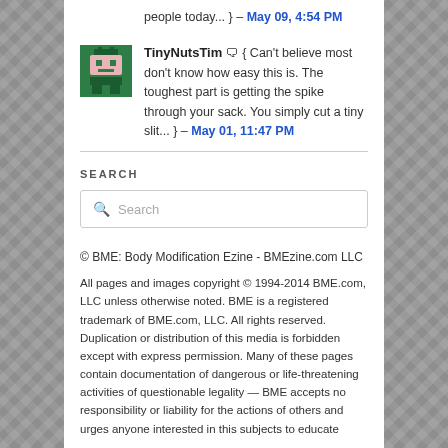people today... } – May 09, 4:54 PM
TinyNutsTim { Can't believe most don't know how easy this is. The toughest part is getting the spike through your sack. You simply cut a tiny slit... } – May 01, 11:47 PM
SEARCH
Search
© BME: Body Modification Ezine - BMEzine.com LLC
All pages and images copyright © 1994-2014 BME.com, LLC unless otherwise noted. BME is a registered trademark of BME.com, LLC. All rights reserved. Duplication or distribution of this media is forbidden except with express permission. Many of these pages contain documentation of dangerous or life-threatening activities of questionable legality — BME accepts no responsibility or liability for the actions of others and urges anyone interested in this subjects to educate themselves completely before performing any such activity.